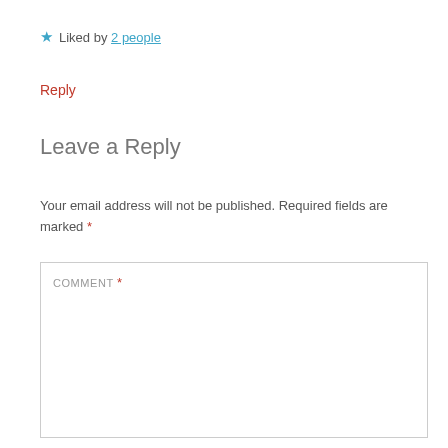★ Liked by 2 people
Reply
Leave a Reply
Your email address will not be published. Required fields are marked *
COMMENT *